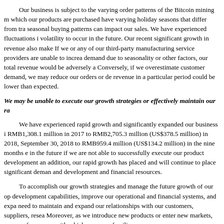Our business is subject to the varying order patterns of the Bitcoin mining m which our products are purchased have varying holiday seasons that differ from tra seasonal buying patterns can impact our sales. We have experienced fluctuations i volatility to occur in the future. Our recent significant growth in revenue also make If we or any of our third-party manufacturing service providers are unable to increa demand due to seasonality or other factors, our total revenue would be adversely a Conversely, if we overestimate customer demand, we may reduce our orders or de revenue in a particular period could be lower than expected.
We may be unable to execute our growth strategies or effectively maintain our ra
We have experienced rapid growth and significantly expanded our business i RMB1,308.1 million in 2017 to RMB2,705.3 million (US$378.5 million) in 2018, September 30, 2018 to RMB959.4 million (US$134.2 million) in the nine months e in the future if we are not able to successfully execute our product development an addition, our rapid growth has placed and will continue to place significant deman and development and financial resources.
To accomplish our growth strategies and manage the future growth of our op development capabilities, improve our operational and financial systems, and expa need to maintain and expand our relationships with our customers, suppliers, resea Moreover, as we introduce new products or enter new markets, we may face new r with which we are unfamiliar.
Our current and planned operations, personnel, systems, internal procedures expansion. In addition, the success of our growth strategies depends on a number c and the demand for Bitcoin, the level of competition we face and evolving custome